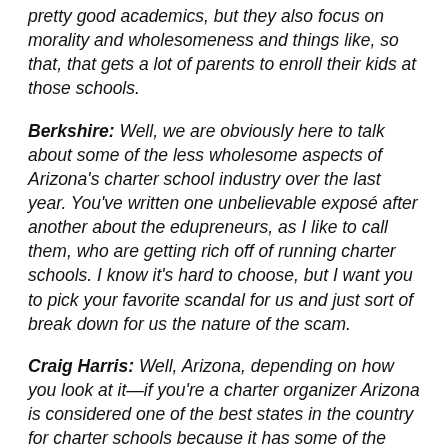pretty good academics, but they also focus on morality and wholesomeness and things like, so that, that gets a lot of parents to enroll their kids at those schools.
Berkshire: Well, we are obviously here to talk about some of the less wholesome aspects of Arizona's charter school industry over the last year. You've written one unbelievable exposé after another about the edupreneurs, as I like to call them, who are getting rich off of running charter schools. I know it's hard to choose, but I want you to pick your favorite scandal for us and just sort of break down for us the nature of the scam.
Craig Harris: Well, Arizona, depending on how you look at it—if you're a charter organizer Arizona is considered one of the best states in the country for charter schools because it has some of the fewest and weakest oversight mechanisms in place of any state in the country.